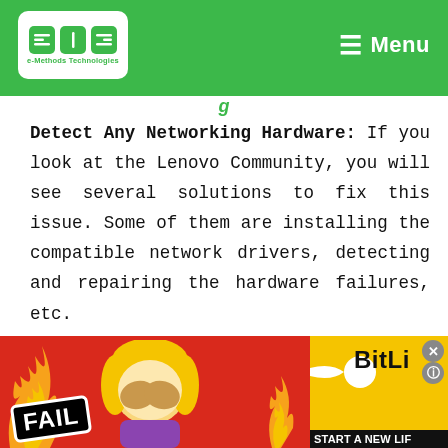e-Methods Technologies — Menu
Detect Any Networking Hardware: If you look at the Lenovo Community, you will see several solutions to fix this issue. Some of them are installing the compatible network drivers, detecting and repairing the hardware failures, etc.
[Figure (illustration): Advertisement banner with 'FAIL' badge, cartoon figure, flames, BitLi logo with arrow, and 'START A NEW LIF' text on black background.]